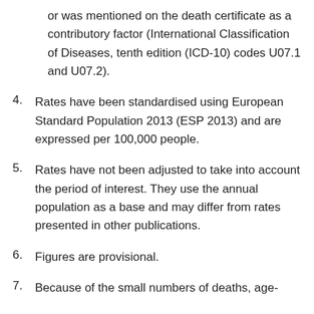or was mentioned on the death certificate as a contributory factor (International Classification of Diseases, tenth edition (ICD-10) codes U07.1 and U07.2).
4. Rates have been standardised using European Standard Population 2013 (ESP 2013) and are expressed per 100,000 people.
5. Rates have not been adjusted to take into account the period of interest. They use the annual population as a base and may differ from rates presented in other publications.
6. Figures are provisional.
7. Because of the small numbers of deaths, age-